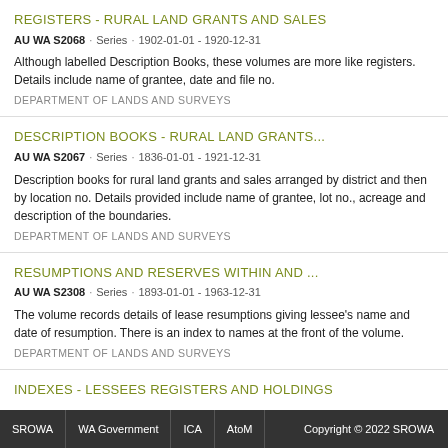REGISTERS - RURAL LAND GRANTS AND SALES
AU WA S2068 · Series · 1902-01-01 - 1920-12-31
Although labelled Description Books, these volumes are more like registers. Details include name of grantee, date and file no.
DEPARTMENT OF LANDS AND SURVEYS
DESCRIPTION BOOKS - RURAL LAND GRANTS...
AU WA S2067 · Series · 1836-01-01 - 1921-12-31
Description books for rural land grants and sales arranged by district and then by location no. Details provided include name of grantee, lot no., acreage and description of the boundaries.
DEPARTMENT OF LANDS AND SURVEYS
RESUMPTIONS AND RESERVES WITHIN AND ...
AU WA S2308 · Series · 1893-01-01 - 1963-12-31
The volume records details of lease resumptions giving lessee's name and date of resumption. There is an index to names at the front of the volume.
DEPARTMENT OF LANDS AND SURVEYS
INDEXES - LESSEES REGISTERS AND HOLDINGS
SROWA  WA Government  ICA  AtoM  Copyright © 2022 SROWA